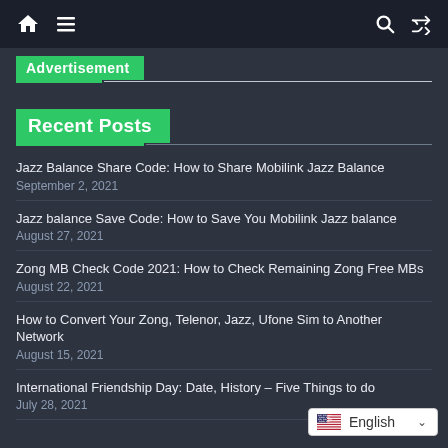Navigation bar with home, menu, search, shuffle icons
Advertisement
Recent Posts
Jazz Balance Share Code: How to Share Mobilink Jazz Balance
September 2, 2021
Jazz balance Save Code: How to Save You Mobilink Jazz balance
August 27, 2021
Zong MB Check Code 2021: How to Check Remaining Zong Free MBs
August 22, 2021
How to Convert Your Zong, Telenor, Jazz, Ufone Sim to Another Network
August 15, 2021
International Friendship Day: Date, History – Five Things to do
July 28, 2021
English